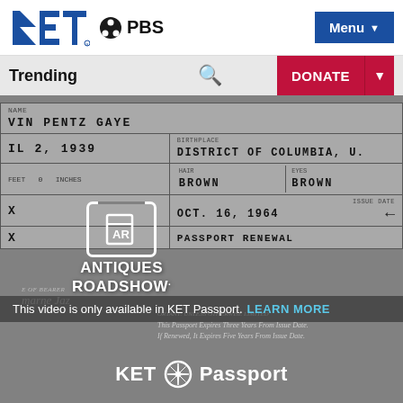KET PBS | Menu
Trending | DONATE
[Figure (screenshot): Marvin Pentz Gaye passport document overlaid with Antiques Roadshow logo, video restriction notice, and KET Passport branding. Passport shows fields: name MARVIN PENTZ GAYE, date IL 2 1939, birthplace DISTRICT OF COLUMBIA U., HAIR: BROWN, EYES: BROWN, ISSUE DATE: OCT. 16, 1964, PASSPORT RENEWAL. Text below reads: This Passport Expires Three Years From Issue Date. If Renewed, It Expires Five Years From Issue Date.]
This video is only available in KET Passport.
LEARN MORE
KET Passport